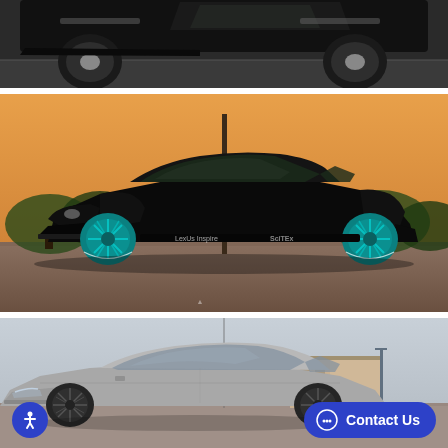[Figure (photo): Partial view of a modified car (dark), seen from above/front angle on pavement, cropped at top]
[Figure (photo): Black Infiniti G37 coupe with teal/cyan multi-spoke wheels, widebody kit, lowered stance, photographed at sunset in a parking lot]
[Figure (photo): Silver/grey Infiniti G coupe, slightly lowered, photographed in a parking lot with building in background, partially cropped]
Contact Us